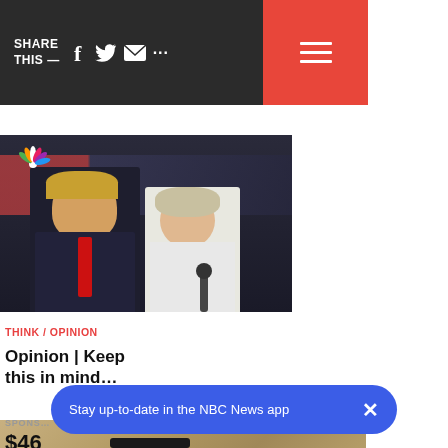SHARE THIS — [social icons] [hamburger menu]
[Figure (photo): NBC News photo of Donald Trump and Hillary Clinton at a presidential debate, with NBC peacock logo visible in top left corner]
THINK / OPINION
Opinion | Keep this in mind...
[Figure (photo): Security camera mounted on a wall lamp fixture on a stone/stucco wall]
SPONSORED
$46 Camera Makes...
Stay up-to-date in the NBC News app